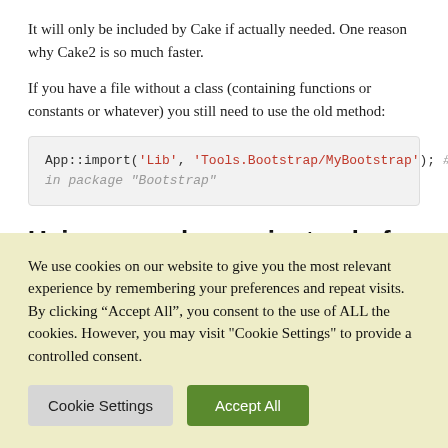It will only be included by Cake if actually needed. One reason why Cake2 is so much faster.
If you have a file without a class (containing functions or constants or whatever) you still need to use the old method:
App::import('Lib', 'Tools.Bootstrap/MyBootstrap'); // in package "Bootstrap"
Using own classes instead of core ones
We use cookies on our website to give you the most relevant experience by remembering your preferences and repeat visits. By clicking “Accept All”, you consent to the use of ALL the cookies. However, you may visit "Cookie Settings" to provide a controlled consent.
Cookie Settings | Accept All